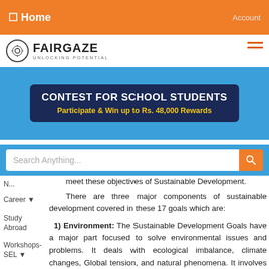Home | Account
[Figure (logo): Fairgaze logo with gear icon and tagline 'Unlocking Potential']
About Us
[Figure (infographic): Contest for School Students banner - Participate & Win up to Rs. 48,000 Rewards]
Search Anything...
meet these objectives of Sustainable Development.
There are three major components of sustainable development covered in these 17 goals which are:
1) Environment: The Sustainable Development Goals have a major part focused to solve environmental issues and problems. It deals with ecological imbalance, climate changes, Global tension, and natural phenomena. It involves all the steps taken to prevent any environmental problem.
2) Social: Society is a major part of the life of any individual and influences the people largely. Social